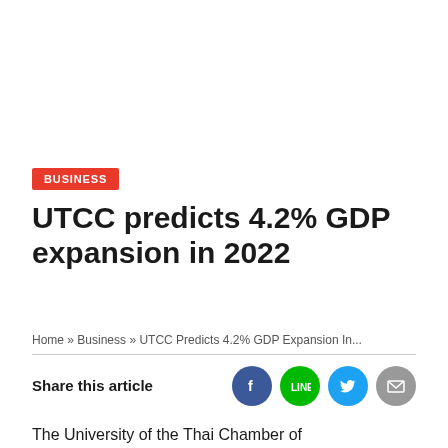BUSINESS
UTCC predicts 4.2% GDP expansion in 2022
Home » Business » UTCC Predicts 4.2% GDP Expansion In...
Share this article
[Figure (infographic): Social sharing icons: Facebook, LINE, Twitter, Email]
The University of the Thai Chamber of